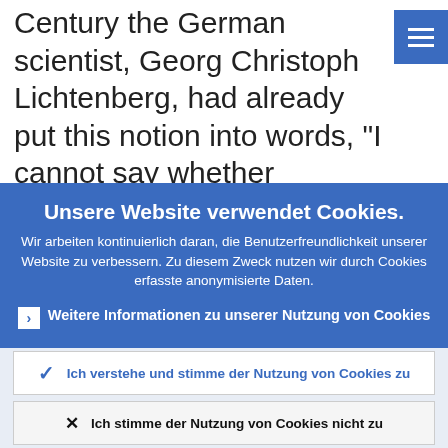Century the German scientist, Georg Christoph Lichtenberg, had already put this notion into words, “I cannot say whether
[Figure (other): Hamburger menu icon button, blue square with three white horizontal lines]
Unsere Website verwendet Cookies.
Wir arbeiten kontinuierlich daran, die Benutzerfreundlichkeit unserer Website zu verbessern. Zu diesem Zweck nutzen wir durch Cookies erfasste anonymisierte Daten.
› Weitere Informationen zu unserer Nutzung von Cookies
✓ Ich verstehe und stimme der Nutzung von Cookies zu
× Ich stimme der Nutzung von Cookies nicht zu